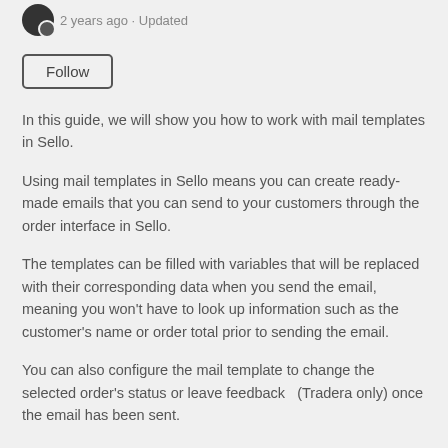2 years ago · Updated
Follow
In this guide, we will show you how to work with mail templates in Sello.
Using mail templates in Sello means you can create ready-made emails that you can send to your customers through the order interface in Sello.
The templates can be filled with variables that will be replaced with their corresponding data when you send the email, meaning you won't have to look up information such as the customer's name or order total prior to sending the email.
You can also configure the mail template to change the selected order's status or leave feedback  (Tradera only) once the email has been sent.